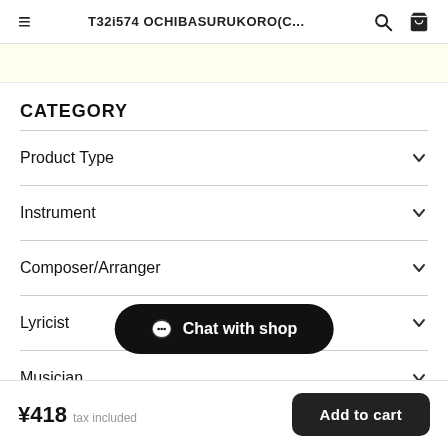T32i574 OCHIBASURUKORO(C...
CATEGORY
Product Type
Instrument
Composer/Arranger
Lyricist
Musician
Chat with shop
¥418 tax included
Add to cart